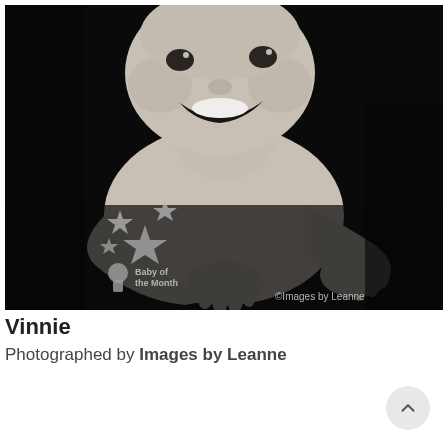[Figure (photo): Black and white portrait photo of a smiling baby named Vinnie, lying on stomach on a dark surface, looking up at camera with a big grin. In the bottom-left corner there is a 'Baby of the Month' watermark with star icons and a small trophy/baby figure icon. In the bottom-right corner it reads '©Images by Leanne'.]
Vinnie
Photographed by Images by Leanne